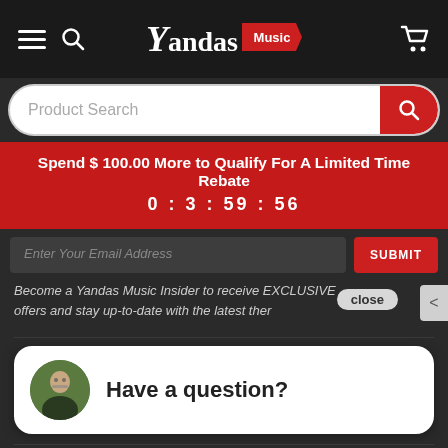Yandas Music — Navigation header with menu, search, logo, cart
Product Search
Spend $100.00 More to Qualify For A Limited Time Rebate
0 : 3 : 59 : 56
Enter Your Email Address
SUBMIT
Become a Yandas Music Insider to receive EXCLUSIVE offers and stay up-to-date with the latest ther
close
[Figure (screenshot): Chat widget bubble with avatar photo of person and text 'Have a question?']
The Team
Music Lessons